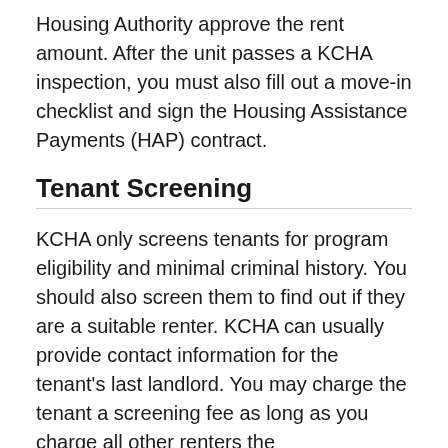Housing Authority approve the rent amount. After the unit passes a KCHA inspection, you must also fill out a move-in checklist and sign the Housing Assistance Payments (HAP) contract.
Tenant Screening
KCHA only screens tenants for program eligibility and minimal criminal history. You should also screen them to find out if they are a suitable renter. KCHA can usually provide contact information for the tenant's last landlord. You may charge the tenant a screening fee as long as you charge all other renters the